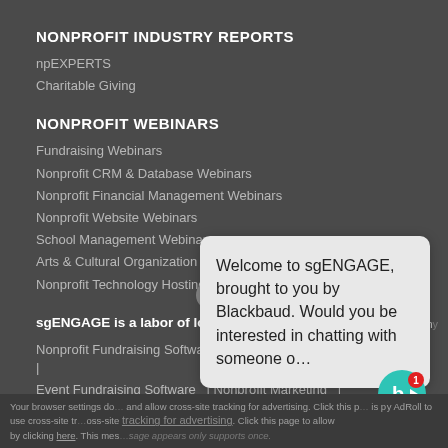NONPROFIT INDUSTRY REPORTS
npEXPERTS
Charitable Giving
NONPROFIT WEBINARS
Fundraising Webinars
Nonprofit CRM & Database Webinars
Nonprofit Financial Management Webinars
Nonprofit Website Webinars
School Management Webinars
Arts & Cultural Organization Webinars
Nonprofit Technology Hosting Webinars
sgENGAGE is a labor of love brought to you by Blackbaud
Nonprofit Fundraising Software  |  Online Fundraising Software  |
Event Fundraising Software  |  Nonprofit Marketing  |
Nonprofit Accou…
Nonprofit Web De…
Welcome to sgENGAGE, brought to you by Blackbaud. Would you be interested in chatting with someone o…
Your browser settings do not allow cross-site tracking for advertising. Click this page to allow AdRoll to use cross-site tracking to tailor advertisements to you on other websites and apps. Learn more or opt out of this AdRoll tracking by clicking here. This message appears only supports once.